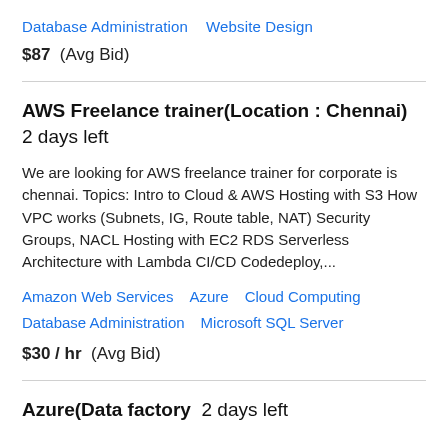Database Administration   Website Design
$87  (Avg Bid)
AWS Freelance trainer(Location : Chennai)  2 days left
We are looking for AWS freelance trainer for corporate is chennai. Topics: Intro to Cloud & AWS Hosting with S3 How VPC works (Subnets, IG, Route table, NAT) Security Groups, NACL Hosting with EC2 RDS Serverless Architecture with Lambda CI/CD Codedeploy,...
Amazon Web Services   Azure   Cloud Computing   Database Administration   Microsoft SQL Server
$30 / hr  (Avg Bid)
Azure(Data factory  2 days left